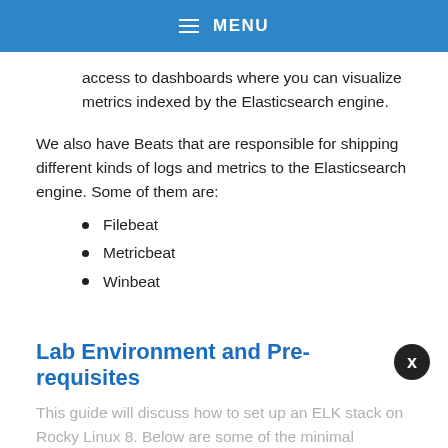MENU
access to dashboards where you can visualize metrics indexed by the Elasticsearch engine.
We also have Beats that are responsible for shipping different kinds of logs and metrics to the Elasticsearch engine. Some of them are:
Filebeat
Metricbeat
Winbeat
Lab Environment and Pre-requisites
This guide will discuss how to set up an ELK stack on Rocky Linux 8. Below are some of the minimal